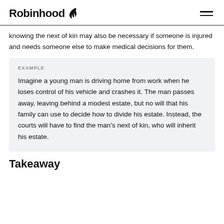Robinhood
knowing the next of kin may also be necessary if someone is injured and needs someone else to make medical decisions for them.
EXAMPLE
Imagine a young man is driving home from work when he loses control of his vehicle and crashes it. The man passes away, leaving behind a modest estate, but no will that his family can use to decide how to divide his estate. Instead, the courts will have to find the man's next of kin, who will inherit his estate.
Takeaway